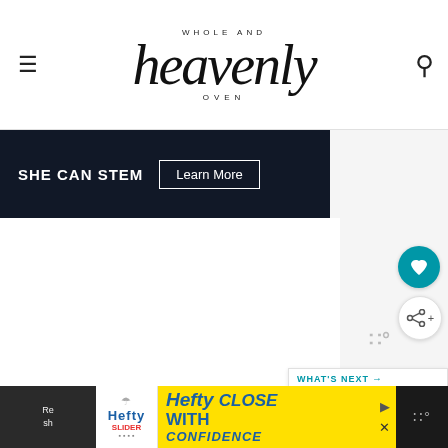Whole And Heavenly Oven
[Figure (other): SHE CAN STEM advertisement banner with Learn More button]
Ingredients
2 medium acorn squash halved and seeds removed
3 tablespoons coconut sugar or brown sugar
1 tablespoon crystallized ginger finely minced
1/2 teaspoon sweet curry
2 tablespoons grated orange zest
1/2 cup water
[Figure (other): Hefty Slider bag advertisement banner at bottom of page]